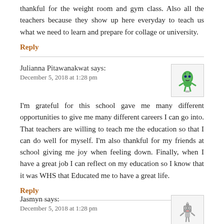thankful for the weight room and gym class. Also all the teachers because they show up here everyday to teach us what we need to learn and prepare for collage or university.
Reply
Julianna Pitawanakwat says:
December 5, 2018 at 1:28 pm
I'm grateful for this school gave me many different opportunities to give me many different careers I can go into. That teachers are willing to teach me the education so that I can do well for myself. I'm also thankful for my friends at school giving me joy when feeling down. Finally, when I have a great job I can reflect on my education so I know that it was WHS that Educated me to have a great life.
Reply
Jasmyn says:
December 5, 2018 at 1:28 pm